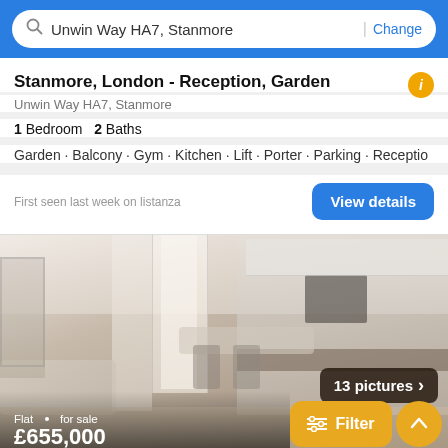Unwin Way HA7, Stanmore | Change
Stanmore, London - Reception, Garden
Unwin Way HA7, Stanmore
1 Bedroom  2 Baths
Garden · Balcony · Gym · Kitchen · Lift · Porter · Parking · Receptio
First seen last week on listanza
[Figure (photo): Interior photo of a modern apartment showing living room with sofa, dining table with chairs, large windows, and modern kitchen with white cabinets and dark wood accents. Text overlay: '13 pictures >']
Flat · for sale
£655,000
Filter